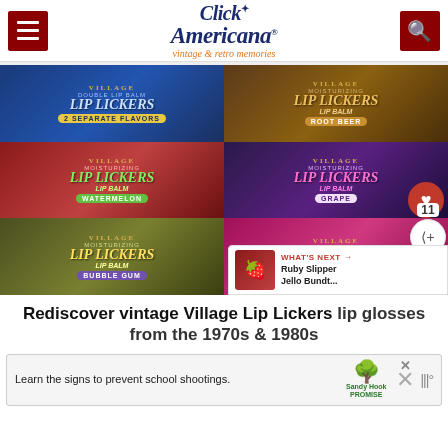Click Americana® — vintage & retro memories
[Figure (photo): Six vintage Village Lip Lickers lip balm tin packages arranged in a 2x3 grid: top-left blue double flavor, top-right brown root beer, middle-left red watermelon, middle-right dark purple/grape with grape cluster, bottom-left yellow-green bubble gum, bottom-right hot pink separate flavors]
Rediscover vintage Village Lip Lickers lip glosses from the 1970s & 1980s
[Figure (screenshot): Advertisement banner: 'Learn the signs to prevent school shootings.' with Sandy Hook Promise tree logo and close buttons]